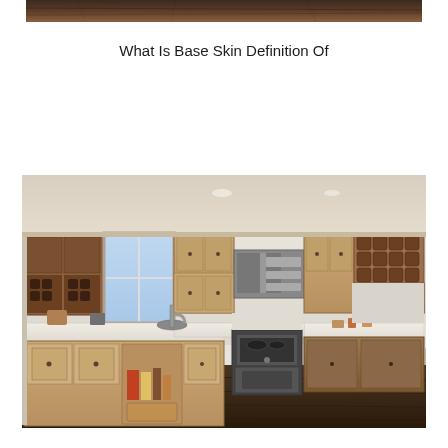[Figure (photo): Partial view of dark wood flooring or countertop surface, cropped at top of page]
What Is Base Skin Definition Of
[Figure (photo): Kitchen interior with light oak/maple cabinets, dark wood floors, stainless steel appliances including microwave and range, white countertops, open shelving with wine rack, and recessed lighting]